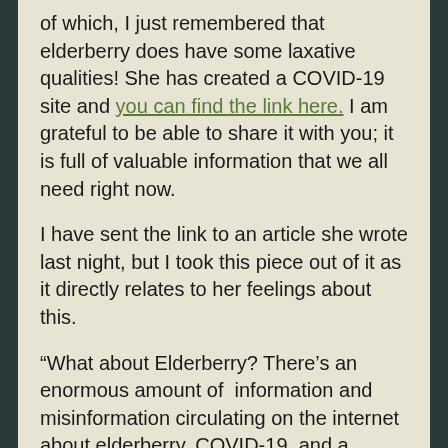of which, I just remembered that elderberry does have some laxative qualities! She has created a COVID-19 site and you can find the link here. I am grateful to be able to share it with you; it is full of valuable information that we all need right now.
I have sent the link to an article she wrote last night, but I took this piece out of it as it directly relates to her feelings about this.
“What about Elderberry? There’s an enormous amount of  information and misinformation circulating on the internet about elderberry, COVID-19, and a phenomenon called ‘cytokine storm.’ The bottom line is that most of the evidence for elderberry is for the treatment of flu when taken during the first 72 hours of symptoms, not for the prevention of either colds or flu, though one study showed a reduced